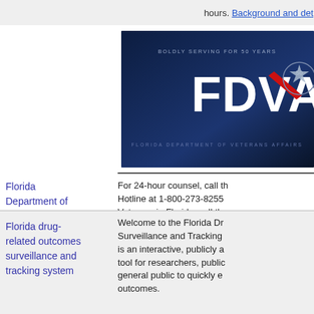hours. Background and det
[Figure (logo): FDVA logo - Florida Department of Veterans Affairs, blue background with large white FDVA text and star, 'Boldly Serving for 50 Years']
Florida Department of Veterans' Affairs
For 24-hour counsel, call the Hotline at 1-800-273-8255 Veterans in Florida, call the Line at 1-844-MyFLVet (69 At the Florida Department advocate for Florida vetera earned benefits and service who served U.S.
Florida drug-related outcomes surveillance and tracking system
Welcome to the Florida Dr Surveillance and Tracking is an interactive, publicly a tool for researchers, public general public to quickly e outcomes.